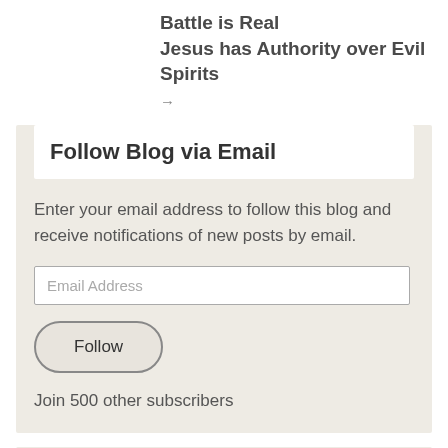Battle is Real
Jesus has Authority over Evil Spirits
→
Follow Blog via Email
Enter your email address to follow this blog and receive notifications of new posts by email.
Email Address
Follow
Join 500 other subscribers